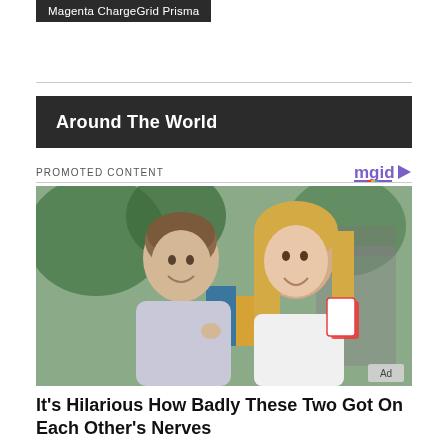Magenta ChargeGrid Prisma
Around The World
PROMOTED CONTENT
[Figure (photo): A man and a woman smiling and posing together outdoors, with playing cards and outdoor furniture visible in the background. An 'Ad' badge appears in the bottom right corner.]
It's Hilarious How Badly These Two Got On Each Other's Nerves